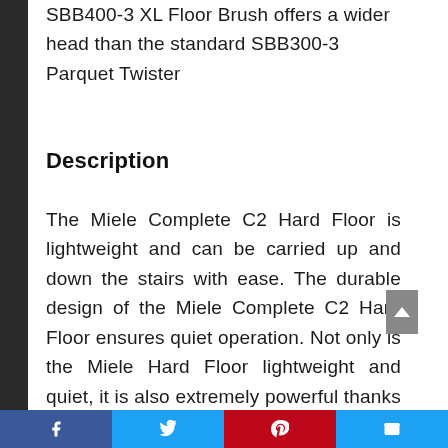SBB400-3 XL Floor Brush offers a wider head than the standard SBB300-3 Parquet Twister
Description
The Miele Complete C2 Hard Floor is lightweight and can be carried up and down the stairs with ease. The durable design of the Miele Complete C2 Hard Floor ensures quiet operation. Not only is the Miele Hard Floor lightweight and quiet, it is also extremely powerful thanks Miele’s Vortex Motor. The combination of the Miele Airclean
Facebook Twitter Pinterest Email